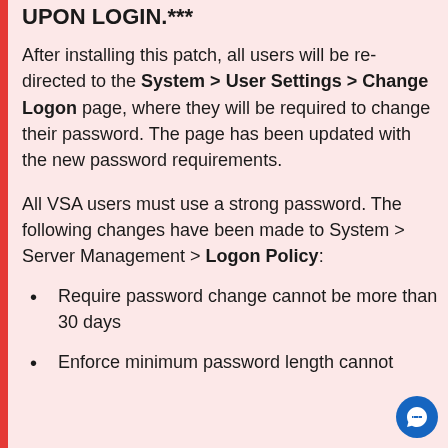UPON LOGIN.***
After installing this patch, all users will be redirected to the System > User Settings > Change Logon page, where they will be required to change their password. The page has been updated with the new password requirements.
All VSA users must use a strong password. The following changes have been made to System > Server Management > Logon Policy:
Require password change cannot be more than 30 days
Enforce minimum password length cannot